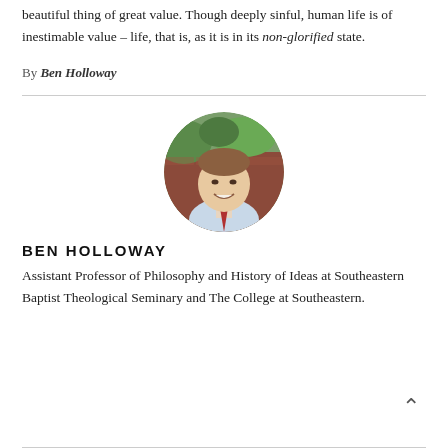beautiful thing of great value. Though deeply sinful, human life is of inestimable value – life, that is, as it is in its non-glorified state.
By Ben Holloway
[Figure (photo): Circular portrait photo of Ben Holloway, a man smiling outdoors with greenery in background, wearing a light blue shirt and red tie.]
BEN HOLLOWAY
Assistant Professor of Philosophy and History of Ideas at Southeastern Baptist Theological Seminary and The College at Southeastern.